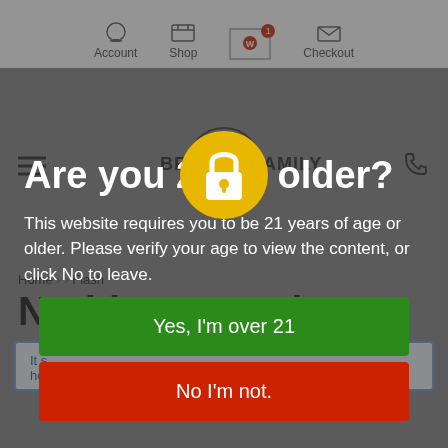Account  Shop  Checkout
[Figure (logo): Bell Family cannabis dispensary logo with leaf icon]
Home > > Flash
Are you 21 or older?
This website requires you to be 21 years of age or older. Please verify your age to view the content, or click No to leave.
Nothing Found
It seems we can't find what you're looking for. Perhaps searching can help
Yes, I'm over 21
No I'm not.